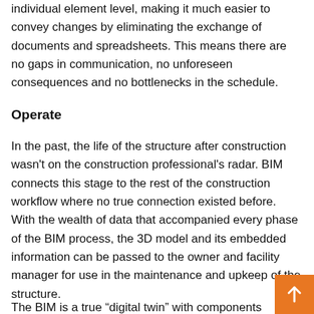individual element level, making it much easier to convey changes by eliminating the exchange of documents and spreadsheets. This means there are no gaps in communication, no unforeseen consequences and no bottlenecks in the schedule.
Operate
In the past, the life of the structure after construction wasn't on the construction professional's radar. BIM connects this stage to the rest of the construction workflow where no true connection existed before. With the wealth of data that accompanied every phase of the BIM process, the 3D model and its embedded information can be passed to the owner and facility manager for use in the maintenance and upkeep of the structure.
The BIM is a true “digital twin” with components enhanced with